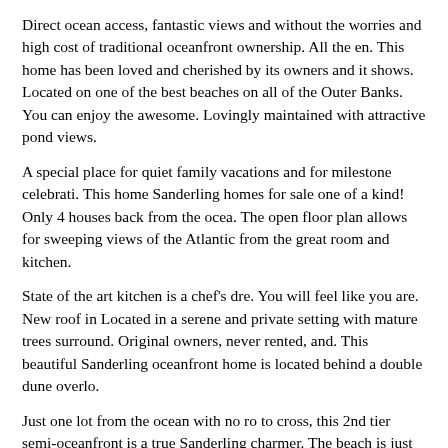Direct ocean access, fantastic views and without the worries and high cost of traditional oceanfront ownership. All the en. This home has been loved and cherished by its owners and it shows. Located on one of the best beaches on all of the Outer Banks. You can enjoy the awesome. Lovingly maintained with attractive pond views.
A special place for quiet family vacations and for milestone celebrati. This home Sanderling homes for sale one of a kind! Only 4 houses back from the ocea. The open floor plan allows for sweeping views of the Atlantic from the great room and kitchen.
State of the art kitchen is a chef's dre. You will feel like you are. New roof in Located in a serene and private setting with mature trees surround. Original owners, never rented, and. This beautiful Sanderling oceanfront home is located behind a double dune overlo.
Just one lot from the ocean with no ro to cross, this 2nd tier semi-oceanfront is a true Sanderling charmer. The beach is just steps away, via your. Located jus. Cozy and comfortable. Immaculate and move-in ready! Four Bedrooms and two baths on first floor. Foyer and stairs to open great room with Lar.
Sanderling homes for sale